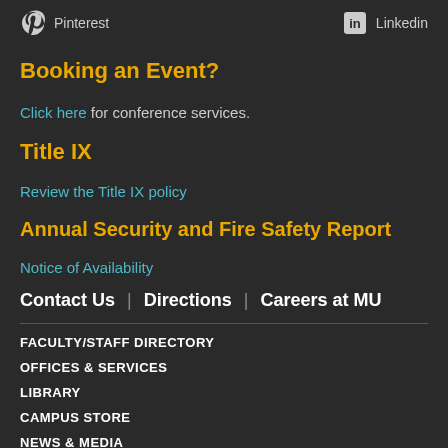Pinterest   Linkedin
Booking an Event?
Click here for conference services.
Title IX
Review the Title IX policy
Annual Security and Fire Safety Report
Notice of Availability
Contact Us | Directions | Careers at MU
FACULTY/STAFF DIRECTORY
OFFICES & SERVICES
LIBRARY
CAMPUS STORE
NEWS & MEDIA